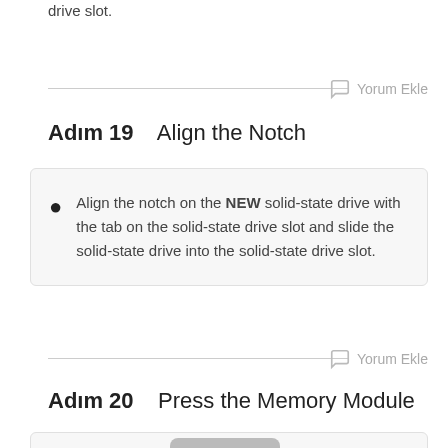drive slot.
Adım 19    Align the Notch
Align the notch on the NEW solid-state drive with the tab on the solid-state drive slot and slide the solid-state drive into the solid-state drive slot.
Adım 20    Press the Memory Module